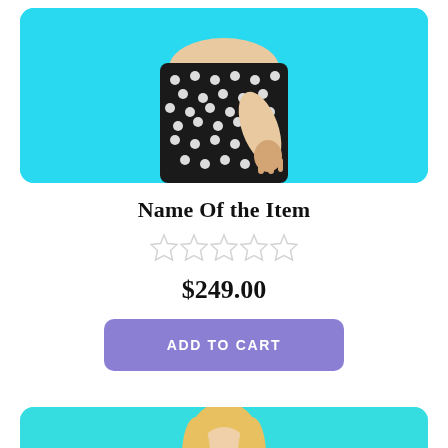[Figure (photo): Woman in black and white polka dot dress against cyan/turquoise background, shown from shoulders down, posing with hand near hip]
Name Of the Item
[Figure (other): Five empty/unfilled star rating icons in a row]
$249.00
ADD TO CART
[Figure (photo): Blonde woman against turquoise background, shown from shoulders up, looking upward — partially visible at bottom of page]